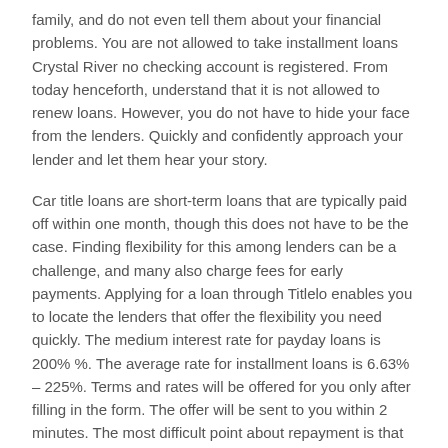family, and do not even tell them about your financial problems. You are not allowed to take installment loans Crystal River no checking account is registered. From today henceforth, understand that it is not allowed to renew loans. However, you do not have to hide your face from the lenders. Quickly and confidently approach your lender and let them hear your story.
Car title loans are short-term loans that are typically paid off within one month, though this does not have to be the case. Finding flexibility for this among lenders can be a challenge, and many also charge fees for early payments. Applying for a loan through Titlelo enables you to locate the lenders that offer the flexibility you need quickly. The medium interest rate for payday loans is 200% %. The average rate for installment loans is 6.63% – 225%. Terms and rates will be offered for you only after filling in the form. The offer will be sent to you within 2 minutes. The most difficult point about repayment is that you have to pay back the whole sum.
We offer personal loans including payday loans, cash advances,